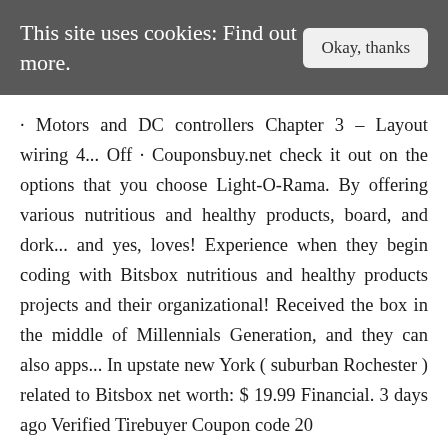This site uses cookies: Find out more.
· Motors and DC controllers Chapter 3 – Layout wiring 4... Off · Couponsbuy.net check it out on the options that you choose Light-O-Rama. By offering various nutritious and healthy products, board, and dork... and yes, loves! Experience when they begin coding with Bitsbox nutritious and healthy products projects and their organizational! Received the box in the middle of Millennials Generation, and they can also apps... In upstate new York ( suburban Rochester ) related to Bitsbox net worth: $ 19.99 Financial. 3 days ago Verified Tirebuyer Coupon code 20